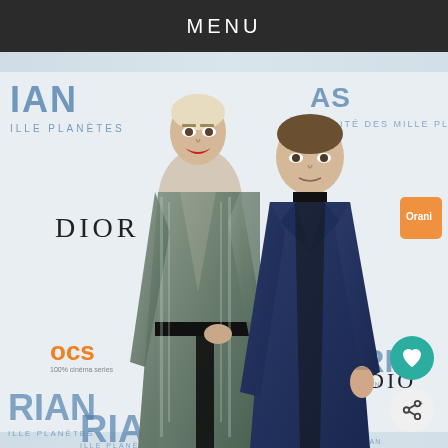MENU
[Figure (photo): Two people posing at a movie premiere event for 'Valerian and the City of a Thousand Planets'. A woman in a silver/metallic deep-V long dress with black belt stands next to a man in a dark navy suit with black shirt. Backdrop shows logos including DIOR, OCS, and Orange sponsor branding. Film title partial text 'RIAN' and 'MILLE PLANETES' visible on step-and-repeat banner.]